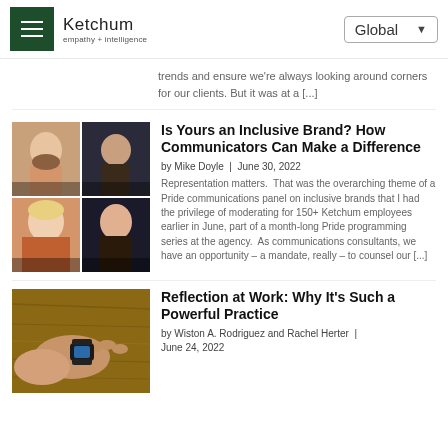Ketchum — empathy + intelligence | Global
trends and ensure we're always looking around corners for our clients. But it was at a [...]
[Figure (photo): Grid of four video call participants on screen]
Is Yours an Inclusive Brand? How Communicators Can Make a Difference
by Mike Doyle  |  June 30, 2022
Representation matters.  That was the overarching theme of a Pride communications panel on inclusive brands that I had the privilege of moderating for 150+ Ketchum employees earlier in June, part of a month-long Pride programming series at the agency.  As communications consultants, we have an opportunity – a mandate, really – to counsel our [...]
[Figure (photo): Hands resting on a wooden surface, one wearing a smartwatch]
Reflection at Work: Why It's Such a Powerful Practice
by Wiston A. Rodriguez and Rachel Herter  |
June 24, 2022